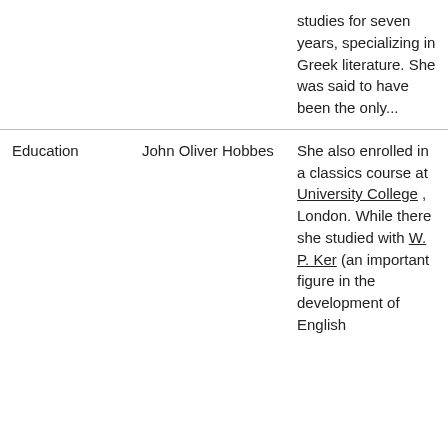|  |  | studies for seven years, specializing in Greek literature. She was said to have been the only... |
| Education | John Oliver Hobbes | She also enrolled in a classics course at University College , London. While there she studied with W. P. Ker (an important figure in the development of English |